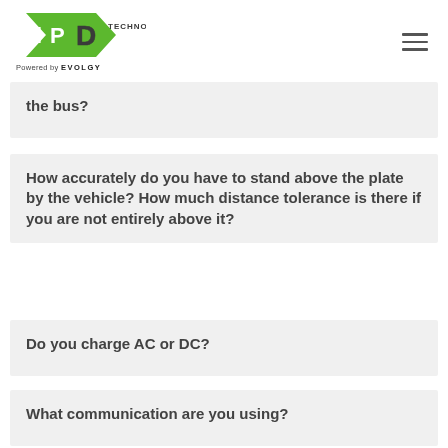IPD Technology Powered by EVOLGY
the bus?
How accurately do you have to stand above the plate by the vehicle? How much distance tolerance is there if you are not entirely above it?
Do you charge AC or DC?
What communication are you using?
What about the possible effect on pacemakers and other EMF health concerns?
What is the impact for a living being?